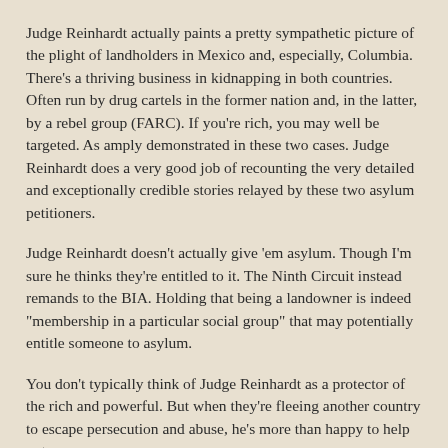Judge Reinhardt actually paints a pretty sympathetic picture of the plight of landholders in Mexico and, especially, Columbia.  There's a thriving business in kidnapping in both countries.  Often run by drug cartels in the former nation and, in the latter, by a rebel group (FARC).  If you're rich, you may well be targeted.  As amply demonstrated in these two cases.  Judge Reinhardt does a very good job of recounting the very detailed and exceptionally credible stories relayed by these two asylum petitioners.
Judge Reinhardt doesn't actually give 'em asylum.  Though I'm sure he thinks they're entitled to it.  The Ninth Circuit instead remands to the BIA.  Holding that being a landowner is indeed "membership in a particular social group" that may potentially entitle someone to asylum.
You don't typically think of Judge Reinhardt as a protector of the rich and powerful.  But when they're fleeing another country to escape persecution and abuse, he's more than happy to help out.